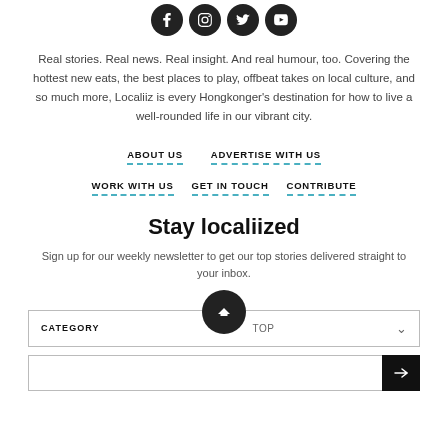[Figure (illustration): Four circular social media icons (Facebook, Instagram, Twitter, YouTube) in dark/black circles displayed in a row]
Real stories. Real news. Real insight. And real humour, too. Covering the hottest new eats, the best places to play, offbeat takes on local culture, and so much more, Localiiz is every Hongkonger's destination for how to live a well-rounded life in our vibrant city.
ABOUT US
ADVERTISE WITH US
WORK WITH US
GET IN TOUCH
CONTRIBUTE
Stay localiized
Sign up for our weekly newsletter to get our top stories delivered straight to your inbox.
CATEGORY    TOP
Email address input row